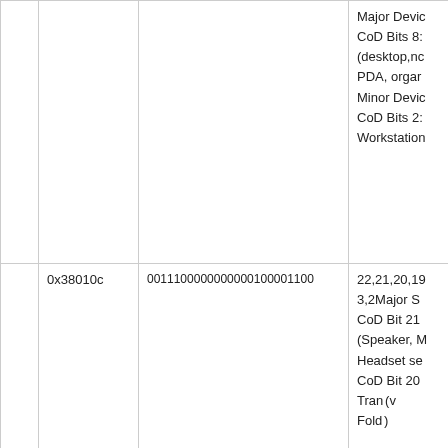|  |  |  |  |
| --- | --- | --- | --- |
|  |  |  | Major Device
CoD Bits 8:
(desktop,no
PDA, organ
Minor Device
CoD Bits 2:
Workstation |
| 0x38010c | 0011100000000000100001100 | 22,21,20,19
3,2Major S
CoD Bit 21
(Speaker, M
Headset se
CoD Bit 20
Trans(v
Fold) |